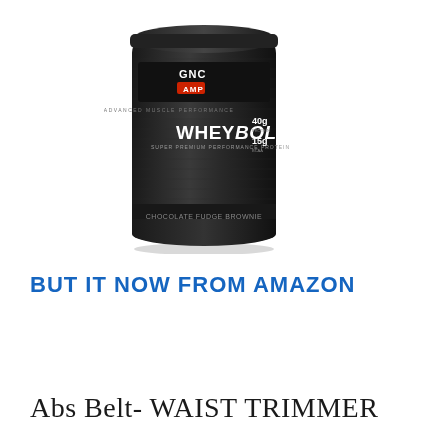[Figure (photo): GNC AMP Wheybolic protein supplement container, black cylindrical tub with product branding]
BUT IT NOW FROM AMAZON
Abs Belt- WAIST TRIMMER